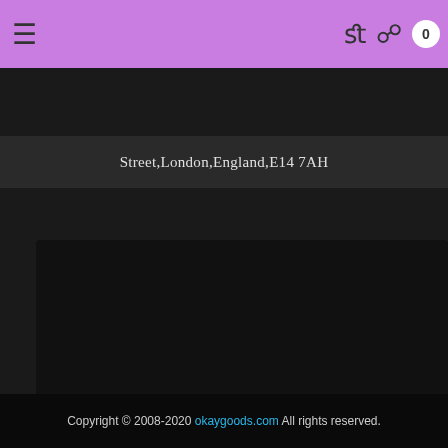menu fl icons 0
Street,London,England,E14 7AH
[Figure (map): Dark map area with a blue location dot in the lower right area]
Copyright © 2008-2020 okaygoods.com All rights reserved.